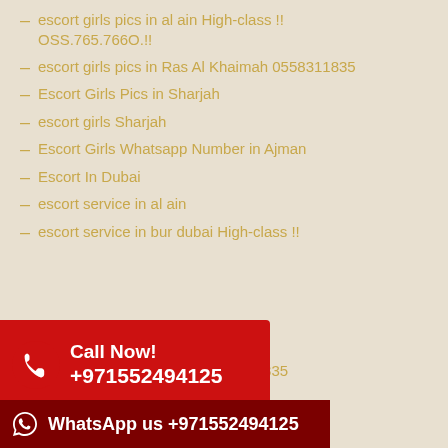escort girls pics in al ain High-class !! OSS.765.766O.!!
escort girls pics in Ras Al Khaimah 0558311835
Escort Girls Pics in Sharjah
escort girls Sharjah
Escort Girls Whatsapp Number in Ajman
Escort In Dubai
escort service in al ain
escort service in bur dubai High-class !!
[Figure (infographic): Red Call Now banner with phone icon, text Call Now! +971552494125]
in Umm Al Quwai +971558311835
escort service Sharjah
[Figure (infographic): Dark red WhatsApp us banner with WhatsApp icon, text WhatsApp us +971552494125]
n